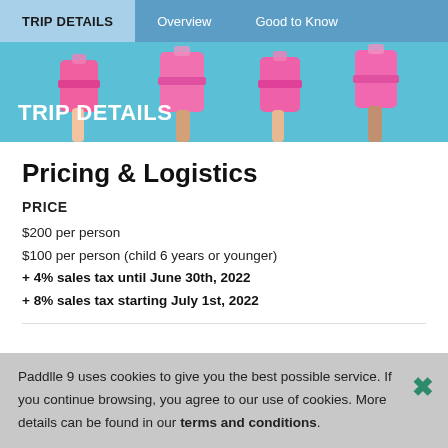TRIP DETAILS | Overview | Good to Know
[Figure (photo): Hero banner image with pink luggage held up against a blue/teal background, with white bold text 'TRIP DETAILS' overlaid]
Pricing & Logistics
PRICE
$200 per person
$100 per person (child 6 years or younger)
+ 4% sales tax until June 30th, 2022
+ 8% sales tax starting July 1st, 2022
Paddlle 9 uses cookies to give you the best possible service. If you continue browsing, you agree to our use of cookies. More details can be found in our terms and conditions.